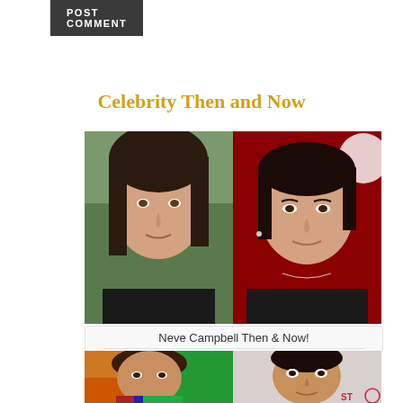[Figure (other): POST COMMENT button, dark grey background with white uppercase text]
Celebrity Then and Now
[Figure (photo): Side-by-side photos of Neve Campbell: left photo shows her younger (then), right photo shows her more recently (now) against a red background]
Neve Campbell Then & Now!
[Figure (photo): Side-by-side photos of another celebrity: left photo shows them younger (then), right photo shows them more recently (now)]